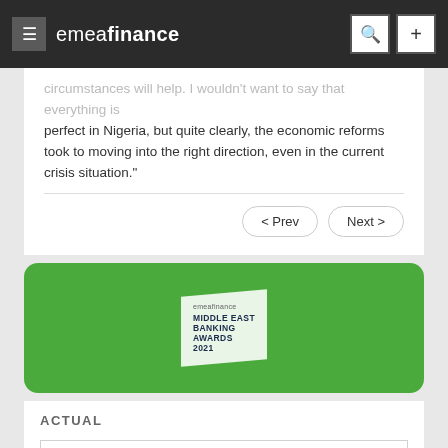emeafinance
circumstances will help. I wouldn't want to say that everything is perfect in Nigeria, but quite clearly, the economic reforms took to moving into the right direction, even in the current crisis situation."
[Figure (logo): emeafinance Middle East Banking Awards 2021 green banner advertisement]
ACTUAL
News